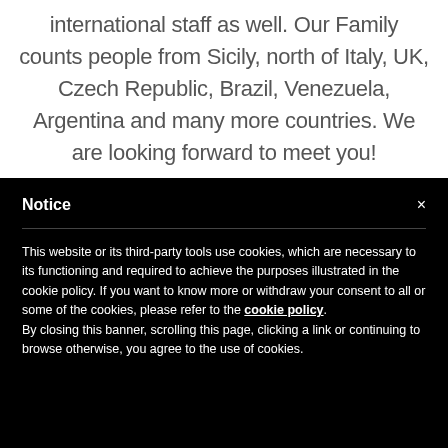international staff as well. Our Family counts people from Sicily, north of Italy, UK, Czech Republic, Brazil, Venezuela, Argentina and many more countries. We are looking forward to meet you!
Notice
This website or its third-party tools use cookies, which are necessary to its functioning and required to achieve the purposes illustrated in the cookie policy. If you want to know more or withdraw your consent to all or some of the cookies, please refer to the cookie policy. By closing this banner, scrolling this page, clicking a link or continuing to browse otherwise, you agree to the use of cookies.